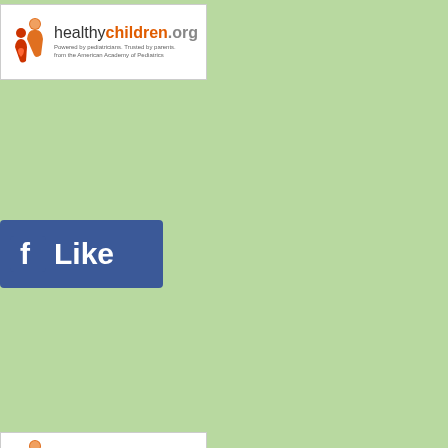[Figure (logo): healthychildren.org logo with parent-child icon, tagline 'Powered by pediatricians. Trusted by parents. from the American Academy of Pediatrics']
[Figure (logo): Facebook Like button - blue rectangle with white 'f' icon and white 'Like' text]
[Figure (logo): healthychildren.org logo (second instance) with 'learn more' link in orange]
Pediatrician - P
Copyright